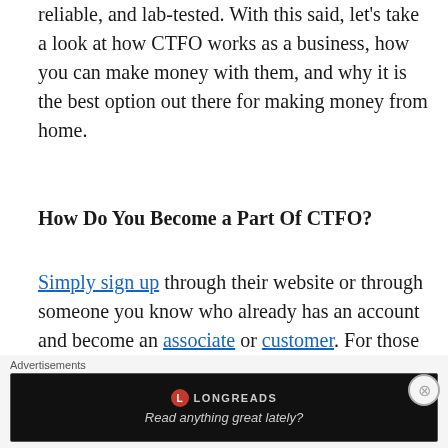reliable, and lab-tested. With this said, let's take a look at how CTFO works as a business, how you can make money with them, and why it is the best option out there for making money from home.
How Do You Become a Part Of CTFO?
Simply sign up through their website or through someone you know who already has an account and become an associate or customer. For those wanting to make money online with CTFO, join as an associate and
[Figure (other): Advertisement banner for Longreads: black background with red circle logo, text 'LONGREADS' and 'Read anything great lately?']